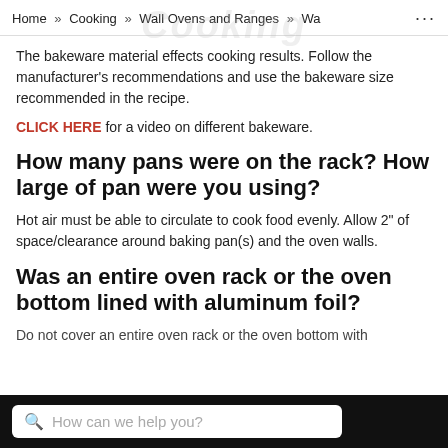Home » Cooking » Wall Ovens and Ranges » Wa ...
The bakeware material effects cooking results. Follow the manufacturer's recommendations and use the bakeware size recommended in the recipe.
CLICK HERE for a video on different bakeware.
How many pans were on the rack? How large of pan were you using?
Hot air must be able to circulate to cook food evenly. Allow 2" of space/clearance around baking pan(s) and the oven walls.
Was an entire oven rack or the oven bottom lined with aluminum foil?
Do not cover an entire oven rack or the oven bottom with